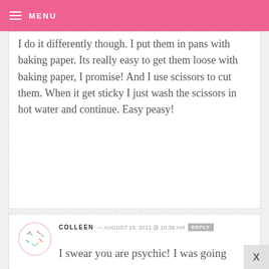MENU
I do it differently though. I put them in pans with baking paper. Its really easy to get them loose with baking paper, I promise! And I use scissors to cut them. When it get sticky I just wash the scissors in hot water and continue. Easy peasy!
COLLEEN — AUGUST 15, 2011 @ 10:39 AM  REPLY
I swear you are psychic! I was going